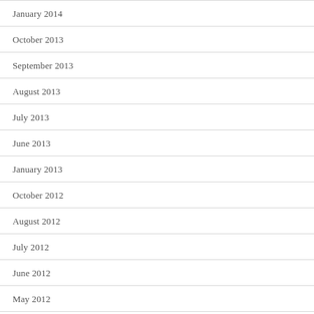January 2014
October 2013
September 2013
August 2013
July 2013
June 2013
January 2013
October 2012
August 2012
July 2012
June 2012
May 2012
April 2012